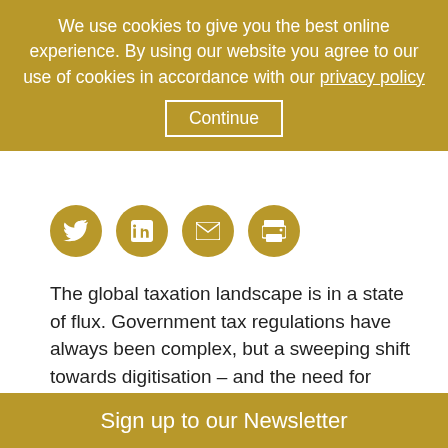We use cookies to give you the best online experience. By using our website you agree to our use of cookies in accordance with our privacy policy  Continue
[Figure (infographic): Four circular social sharing icons (Twitter, LinkedIn, Email, Print) in gold/tan color on a white background]
The global taxation landscape is in a state of flux. Government tax regulations have always been complex, but a sweeping shift towards digitisation – and the need for businesses to remain compliant – can often result in confusion, particularly for smaller businesses who have long been reliant on paper-based invoicing and receipts.
The move to digital processes can be hugely beneficial, however; not just from a compliance perspective, but also with regards to 'costs of business' such as
Sign up to our Newsletter